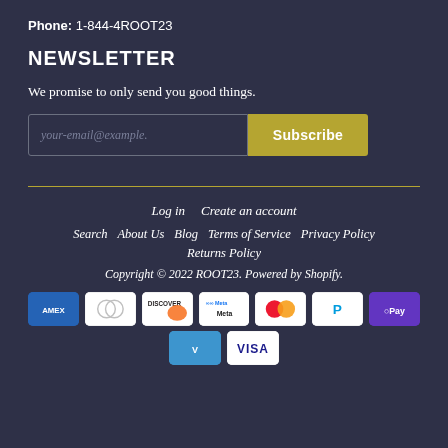Phone: 1-844-4ROOT23
NEWSLETTER
We promise to only send you good things.
[Figure (other): Email subscription form with input field placeholder 'your-email@example.' and a Subscribe button]
Log in   Create an account   Search   About Us   Blog   Terms of Service   Privacy Policy   Returns Policy   Copyright © 2022 ROOT23. Powered by Shopify.
[Figure (other): Payment method icons: Amex, Diners Club, Discover, Meta Pay, Mastercard, PayPal, GPay, Venmo, Visa]